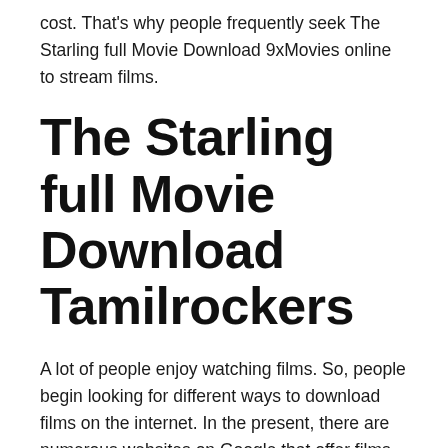cost. That's why people frequently seek The Starling full Movie Download 9xMovies online to stream films.
The Starling full Movie Download Tamilrockers
A lot of people enjoy watching films. So, people begin looking for different ways to download films on the internet. In the present, there are numerous websites on Google that offer films to people at no cost. This is the reason why people are searching The Starling full Movie Download Tamilrockers online to find movies.